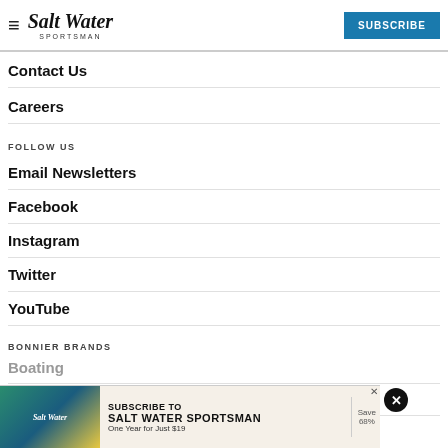Salt Water Sportsman | SUBSCRIBE
Contact Us
Careers
FOLLOW US
Email Newsletters
Facebook
Instagram
Twitter
YouTube
BONNIER BRANDS
Boating
Cruising World
[Figure (screenshot): Advertisement banner: Subscribe to Salt Water Sportsman, One Year for Just $19, Save 68%]